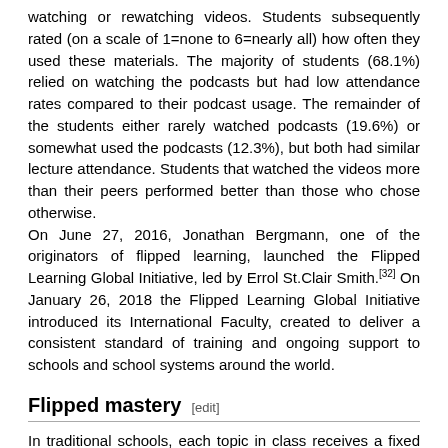watching or rewatching videos. Students subsequently rated (on a scale of 1=none to 6=nearly all) how often they used these materials. The majority of students (68.1%) relied on watching the podcasts but had low attendance rates compared to their podcast usage. The remainder of the students either rarely watched podcasts (19.6%) or somewhat used the podcasts (12.3%), but both had similar lecture attendance. Students that watched the videos more than their peers performed better than those who chose otherwise. On June 27, 2016, Jonathan Bergmann, one of the originators of flipped learning, launched the Flipped Learning Global Initiative, led by Errol St.Clair Smith.[32] On January 26, 2018 the Flipped Learning Global Initiative introduced its International Faculty, created to deliver a consistent standard of training and ongoing support to schools and school systems around the world.
Flipped mastery [edit]
In traditional schools, each topic in class receives a fixed amount of time for all students. Flipped mastery